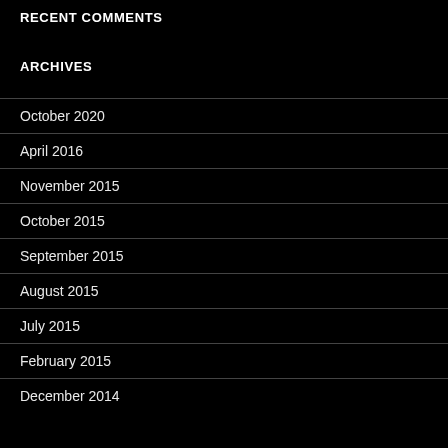RECENT COMMENTS
ARCHIVES
October 2020
April 2016
November 2015
October 2015
September 2015
August 2015
July 2015
February 2015
December 2014